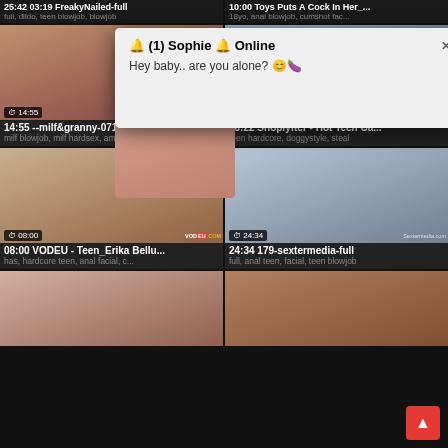14:55 --milf&granny-0714_04
milf blowjob, milf hardsex, amp
10:22 Shoplyfter - Hot Teen Ca...
teen hardcore, doggystyle, steal
08:00 VODEU - Teen_Erika Bellu...
has, hardcore teen, anal facial, c...
24:34 179-sextermedia-full
full, anal teen, facial, teen blowjob
[Figure (screenshot): Popup notification: '🔔 (1) Sophie 🔔 Online — Hey baby.. are you alone? 😊🍆' with close button, overlaid on adult video thumbnail grid]